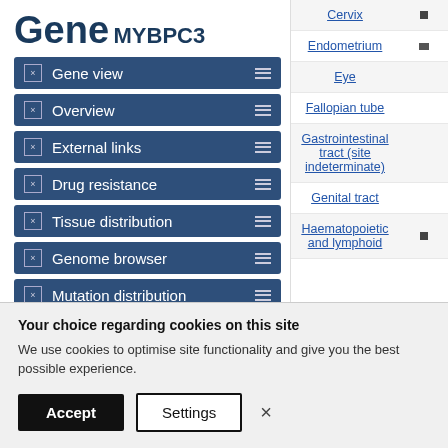Gene
MYBPC3
Gene view
Overview
External links
Drug resistance
Tissue distribution
Genome browser
Mutation distribution
| Tissue | Indicator |
| --- | --- |
| Cervix | ▪ |
| Endometrium | ▪ |
| Eye |  |
| Fallopian tube |  |
| Gastrointestinal tract (site indeterminate) |  |
| Genital tract |  |
| Haematopoietic and lymphoid | ▪ |
Your choice regarding cookies on this site
We use cookies to optimise site functionality and give you the best possible experience.
Accept | Settings | ×